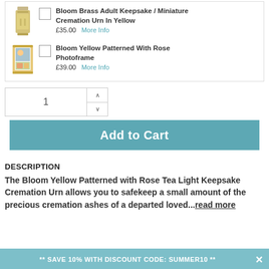Bloom Brass Adult Keepsake / Miniature Cremation Urn In Yellow — £35.00 More Info
Bloom Yellow Patterned With Rose Photoframe — £39.00 More Info
1
Add to Cart
DESCRIPTION
The Bloom Yellow Patterned with Rose Tea Light Keepsake Cremation Urn allows you to safekeep a small amount of the precious cremation ashes of a departed loved...read more
** SAVE 10% WITH DISCOUNT CODE: SUMMER10 **  ×